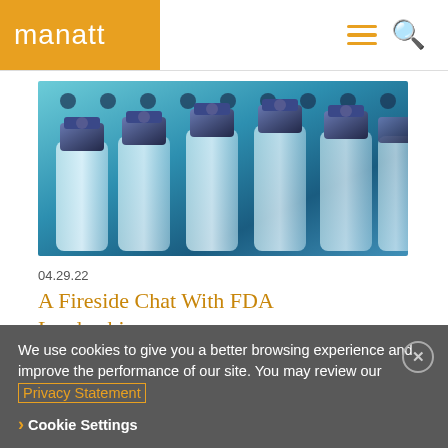manatt
[Figure (photo): Close-up photo of a row of pharmaceutical vials with blue metallic caps, teal/blue background lighting]
04.29.22
A Fireside Chat With FDA Leadership
We are just one quarter into 2022 and the Food and Drug Administration already has experienced a
We use cookies to give you a better browsing experience and improve the performance of our site. You may review our Privacy Statement
> Cookie Settings